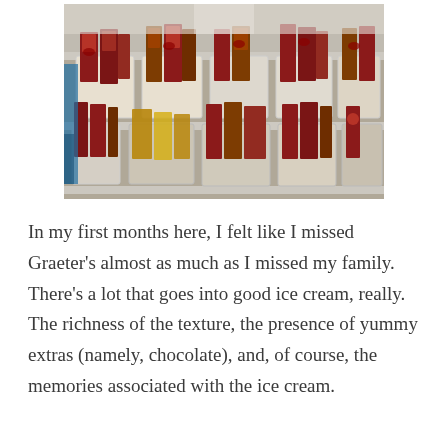[Figure (photo): A store shelf display with multiple baskets containing packaged goods, including what appear to be bags of chocolate or candy products with red and brown packaging.]
In my first months here, I felt like I missed Graeter's almost as much as I missed my family. There's a lot that goes into good ice cream, really. The richness of the texture, the presence of yummy extras (namely, chocolate), and, of course, the memories associated with the ice cream.